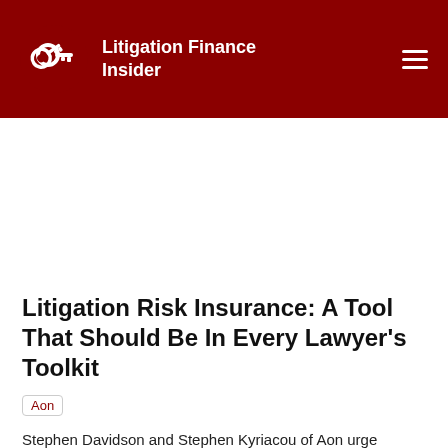Litigation Finance Insider
Litigation Risk Insurance: A Tool That Should Be In Every Lawyer's Toolkit
Aon
Stephen Davidson and Stephen Kyriacou of Aon urge litigators whose practices involve high-stakes, high-dollar-amount cases to familiarise themselves with litigation risk insurance and give a primer on the two forms it